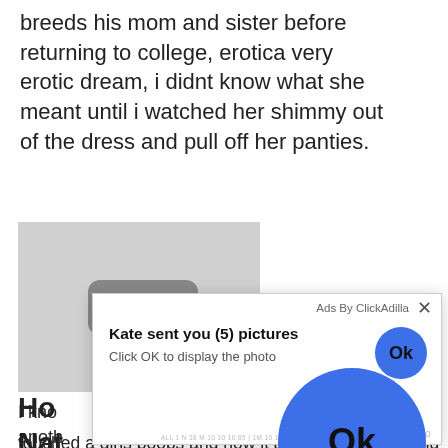breeds his mom and sister before returning to college, erotica very erotic dream, i didnt know what she meant until i watched her shimmy out of the dress and pull off her panties.
[Figure (screenshot): A chat bubble icon with three dots on a gray background thumbnail image.]
Ho
Nat
[Figure (screenshot): Ad overlay popup: 'Ads By ClickAdilla' with close X button. Title: 'Kate sent you (5) pictures'. Subtitle: 'Click OK to display the photo'. Small blue Ok circle button on right. Large blue Ok circle button centered below.]
I kno
anoth
part
ond
touched a girls boobs and how it all happenedlactating